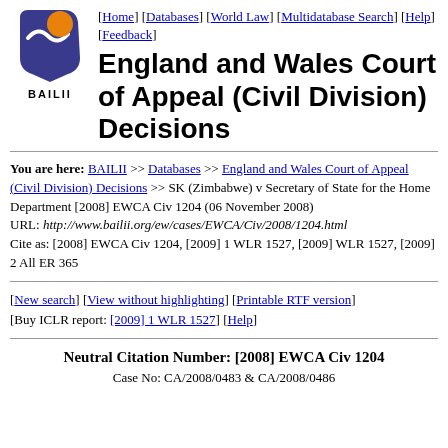[Figure (logo): BAILII logo with purple/blue bird shape and orange circle, text BAILII below]
[Home] [Databases] [World Law] [Multidatabase Search] [Help] [Feedback]
England and Wales Court of Appeal (Civil Division) Decisions
You are here: BAILII >> Databases >> England and Wales Court of Appeal (Civil Division) Decisions >> SK (Zimbabwe) v Secretary of State for the Home Department [2008] EWCA Civ 1204 (06 November 2008)
URL: http://www.bailii.org/ew/cases/EWCA/Civ/2008/1204.html
Cite as: [2008] EWCA Civ 1204, [2009] 1 WLR 1527, [2009] WLR 1527, [2009] 2 All ER 365
[New search] [View without highlighting] [Printable RTF version] [Buy ICLR report: [2009] 1 WLR 1527] [Help]
Neutral Citation Number: [2008] EWCA Civ 1204
Case No: CA/2008/0483 & CA/2008/0486